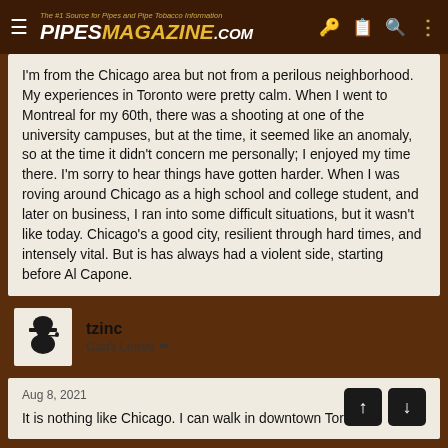PIPESMAGAZINE.COM — The #1 Source for Pipes and Pipe Tobacco Information
I'm from the Chicago area but not from a perilous neighborhood. My experiences in Toronto were pretty calm. When I went to Montreal for my 60th, there was a shooting at one of the university campuses, but at the time, it seemed like an anomaly, so at the time it didn't concern me personally; I enjoyed my time there. I'm sorry to hear things have gotten harder. When I was roving around Chicago as a high school and college student, and later on business, I ran into some difficult situations, but it wasn't like today. Chicago's a good city, resilient through hard times, and intensely vital. But is has always had a violent side, starting before Al Capone.
tzinc
Can't Leave
Aug 8, 2021
It is nothing like Chicago. I can walk in downtown Toronto